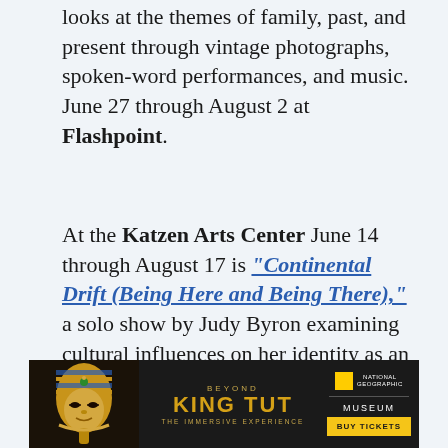looks at the themes of family, past, and present through vintage photographs, spoken-word performances, and music. June 27 through August 2 at Flashpoint.
At the Katzen Arts Center June 14 through August 17 is "Continental Drift (Being Here and Being There)," a solo show by Judy Byron examining cultural influences on her identity as an artist.
Beginning June 29 at Arlington Arts Center is "Green Acres," an interactive multimedia
[Figure (infographic): Advertisement banner for 'Beyond King Tut: The Immersive Experience' featuring a gold King Tut mask on the left, text in center, National Geographic and Museum branding on right, with a yellow 'BUY TICKETS' button.]